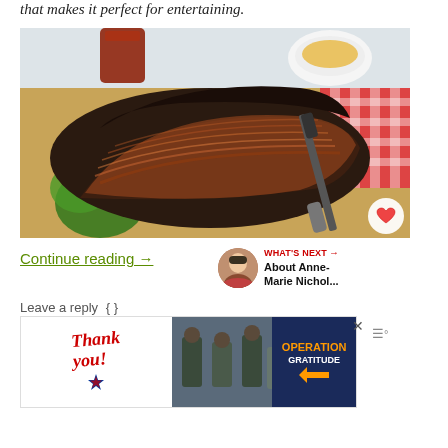that makes it perfect for entertaining.
[Figure (photo): Sliced smoked beef brisket on a wooden cutting board with fresh herbs, a knife, a glass of BBQ sauce, and a bowl of garnish. Heart and share buttons visible on the right side.]
Continue reading →
WHAT'S NEXT → About Anne-Marie Nichol...
Leave a reply
[Figure (screenshot): Advertisement banner: Thank you military appreciation ad with Operation Gratitude logo.]